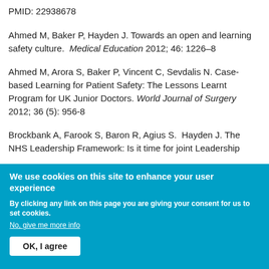PMID: 22938678
Ahmed M, Baker P, Hayden J. Towards an open and learning safety culture. Medical Education 2012; 46: 1226–8
Ahmed M, Arora S, Baker P, Vincent C, Sevdalis N. Case-based Learning for Patient Safety: The Lessons Learnt Program for UK Junior Doctors. World Journal of Surgery 2012; 36 (5): 956-8
Brockbank A, Farook S, Baron R, Agius S. Hayden J. The NHS Leadership Framework: Is it time for joint Leadership
We use cookies on this site to enhance your user experience
By clicking any link on this page you are giving your consent for us to set cookies.
No, give me more info
OK, I agree